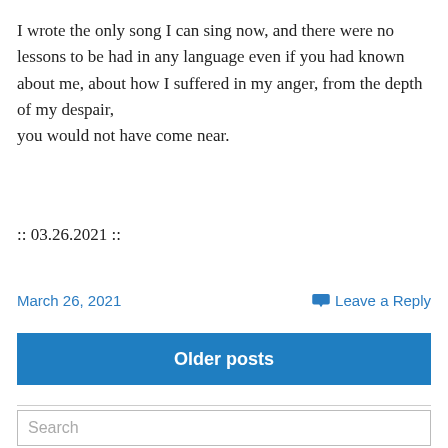I wrote the only song I can sing now, and there were no lessons to be had in any language even if you had known about me, about how I suffered in my anger, from the depth of my despair,
you would not have come near.
:: 03.26.2021 ::
March 26, 2021
Leave a Reply
Older posts
Search